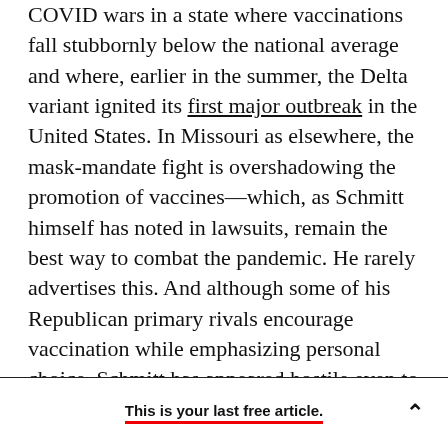COVID wars in a state where vaccinations fall stubbornly below the national average and where, earlier in the summer, the Delta variant ignited its first major outbreak in the United States. In Missouri as elsewhere, the mask-mandate fight is overshadowing the promotion of vaccines—which, as Schmitt himself has noted in lawsuits, remain the best way to combat the pandemic. He rarely advertises this. And although some of his Republican primary rivals encourage vaccination while emphasizing personal choice, Schmitt has appeared hostile even to admitting being vaccinated himself. (He is.) His story, along with
This is your last free article.